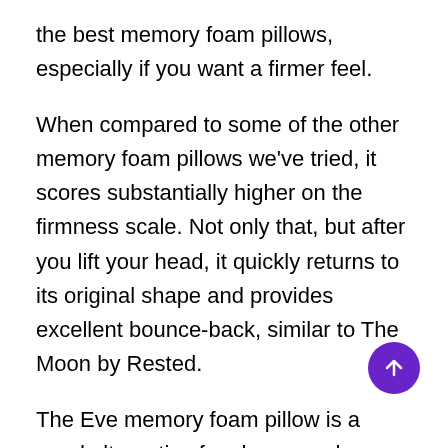the best memory foam pillows, especially if you want a firmer feel.
When compared to some of the other memory foam pillows we've tried, it scores substantially higher on the firmness scale. Not only that, but after you lift your head, it quickly returns to its original shape and provides excellent bounce-back, similar to The Moon by Rested.
The Eve memory foam pillow is a good alternative for sleepers who have neck ache or shoulder strain because of its level of support.
And if you don't notice a difference in your sleep